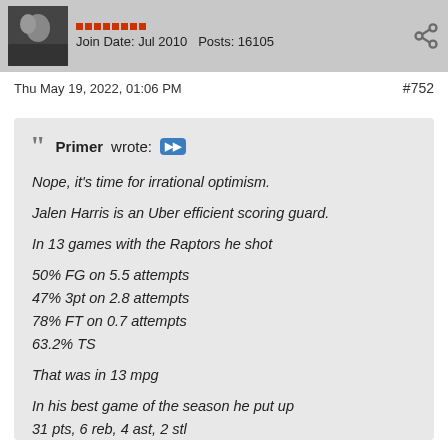Join Date: Jul 2010  Posts: 16105
Thu May 19, 2022, 01:06 PM   #752
Primer wrote:
Nope, it's time for irrational optimism.

Jalen Harris is an Uber efficient scoring guard.

In 13 games with the Raptors he shot

50% FG on 5.5 attempts
47% 3pt on 2.8 attempts
78% FT on 0.7 attempts
63.2% TS

That was in 13 mpg

In his best game of the season he put up
31 pts, 6 reb, 4 ast, 2 stl
12/21 FG, 5/12 3PT, 4/4 FT